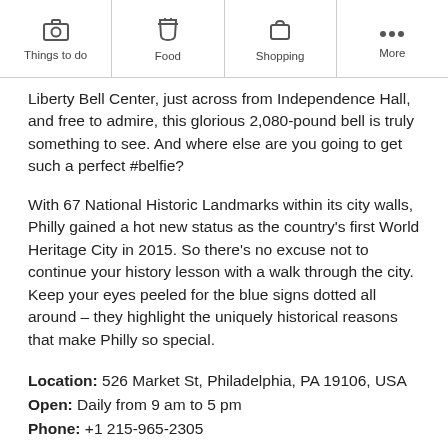Things to do | Food | Shopping | More
Liberty Bell Center, just across from Independence Hall, and free to admire, this glorious 2,080-pound bell is truly something to see. And where else are you going to get such a perfect #belfie?
With 67 National Historic Landmarks within its city walls, Philly gained a hot new status as the country's first World Heritage City in 2015. So there's no excuse not to continue your history lesson with a walk through the city. Keep your eyes peeled for the blue signs dotted all around – they highlight the uniquely historical reasons that make Philly so special.
Location: 526 Market St, Philadelphia, PA 19106, USA
Open: Daily from 9 am to 5 pm
Phone: +1 215-965-2305